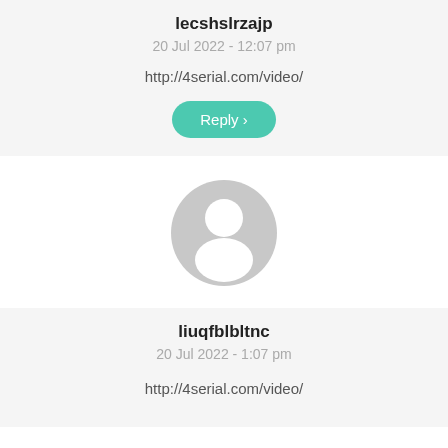lecshslrzajp
20 Jul 2022 - 12:07 pm
http://4serial.com/video/
Reply >
[Figure (illustration): Gray default user avatar icon]
liuqfblbltnc
20 Jul 2022 - 1:07 pm
http://4serial.com/video/